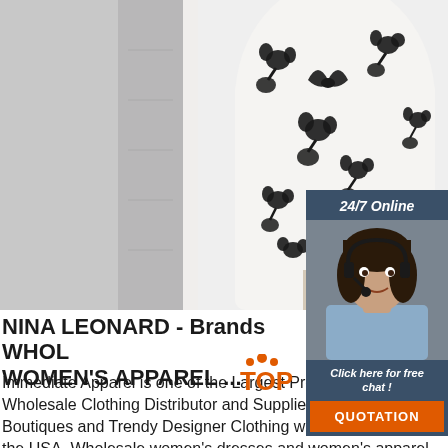[Figure (photo): White dress with black floral pattern on a mannequin, photographed from torso area showing fabric texture and pattern detail. Gray textured background on sides.]
[Figure (infographic): 24/7 Online chat widget with dark blue/slate header showing '24/7 Online', photo of a woman with headset smiling, text 'Click here for free chat!' and an orange 'QUOTATION' button.]
NINA LEONARD - Brands WHOLESALE WOMEN'S APPAREL ...
Immediate Apparel is one of the Largest Premium Womens Wholesale Clothing Distributor and Supplier Vendor for Boutiques and Trendy Designer Clothing with high quality in the USA. Wholesale women's dresses and women's apparel No Minimums Wholesale